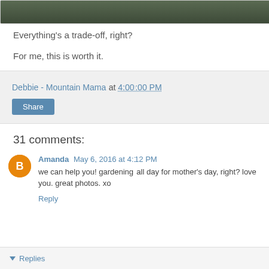[Figure (photo): Partial photo of dark green/grey outdoor scene, cropped at top of page]
Everything's a trade-off, right?
For me, this is worth it.
Debbie - Mountain Mama at 4:00:00 PM
Share
31 comments:
Amanda May 6, 2016 at 4:12 PM
we can help you! gardening all day for mother's day, right? love you. great photos. xo
Reply
Replies